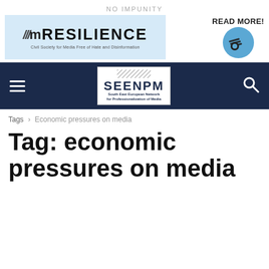NO IMPUNITY
[Figure (logo): Resilience banner ad - Civil Society for Media Free of Hate and Disinformation]
[Figure (logo): READ MORE! button with Resilience logo circle]
[Figure (logo): SEENPM - South East European Network for Professionalization of Media logo in navy navigation bar]
Tags › Economic pressures on media
Tag: economic pressures on media